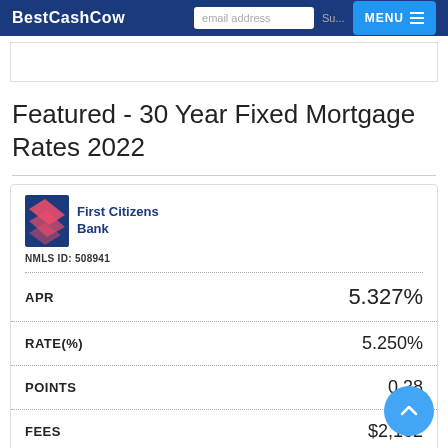BestCashCow  MENU
Featured - 30 Year Fixed Mortgage Rates 2022
| Field | Value |
| --- | --- |
| APR | 5.327% |
| RATE(%) | 5.250% |
| POINTS | 0.38 |
| FEES | $2,162 |